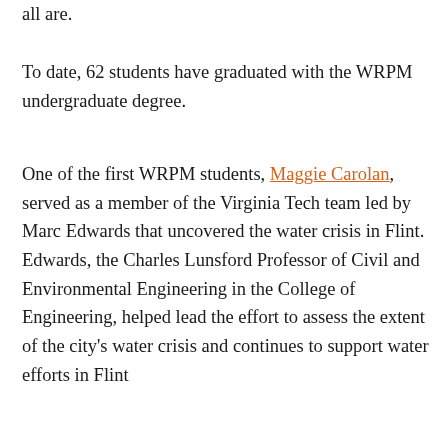all are.
To date, 62 students have graduated with the WRPM undergraduate degree.
One of the first WRPM students, Maggie Carolan, served as a member of the Virginia Tech team led by Marc Edwards that uncovered the water crisis in Flint. Edwards, the Charles Lunsford Professor of Civil and Environmental Engineering in the College of Engineering, helped lead the effort to assess the extent of the city's water crisis and continues to support water efforts in Flint